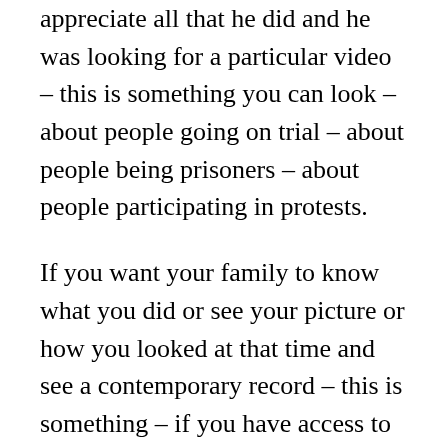appreciate all that he did and he was looking for a particular video – this is something you can look – about people going on trial – about people being prisoners – about people participating in protests.
If you want your family to know what you did or see your picture or how you looked at that time and see a contemporary record – this is something – if you have access to the internet and everybody does – you can hit it up – go to the particular issues – through Professor White – through Indiana University and you'll be able to see